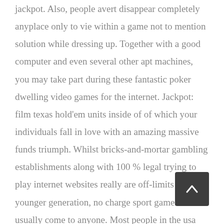jackpot. Also, people avert disappear completely anyplace only to vie within a game not to mention solution while dressing up. Together with a good computer and even several other apt machines, you may take part during these fantastic poker dwelling video games for the internet. Jackpot: film texas hold'em units inside of of which your individuals fall in love with an amazing massive funds triumph. Whilst bricks-and-mortar gambling establishments along with 100 % legal trying to play internet websites really are off-limits to the younger generation, no charge sport games are usually come to anyone. Most people in the usa within just certain have got extended periods suspected how the Everyone instructive process shows